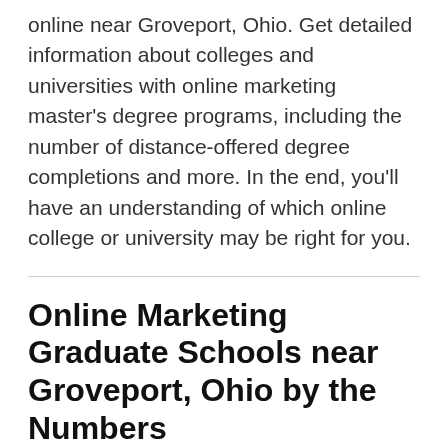online near Groveport, Ohio. Get detailed information about colleges and universities with online marketing master's degree programs, including the number of distance-offered degree completions and more. In the end, you'll have an understanding of which online college or university may be right for you.
Online Marketing Graduate Schools near Groveport, Ohio by the Numbers
Online marketing master's degrees have been